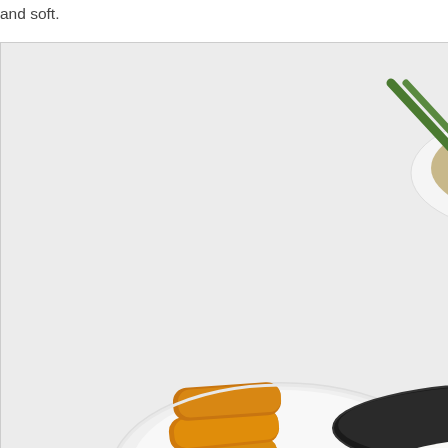and soft.
[Figure (photo): Food photo showing a black clay pot/bowl filled with white rice topped with pork spare ribs, orange pumpkin pieces, and dark fermented black beans. In the foreground-left is a white plate with several golden-fried spring rolls. In the background is another white plate with a stir-fried dish and green chopsticks resting on it. The table surface is white with a subtle floral pattern.]
We always get the Pork Sparerib Rice be... Furthermore, it is a great way to stuff them less.  LOL...  Anyways, this was decent as a bit chewy and nutty.  On top, we found...